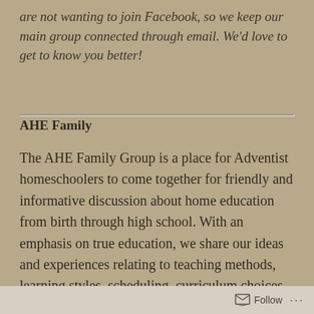are not wanting to join Facebook, so we keep our main group connected through email. We'd love to get to know you better!
AHE Family
The AHE Family Group is a place for Adventist homeschoolers to come together for friendly and informative discussion about home education from birth through high school. With an emphasis on true education, we share our ideas and experiences relating to teaching methods, learning styles, scheduling, curriculum choices and many other homeschooling topics. This is a place where
Follow